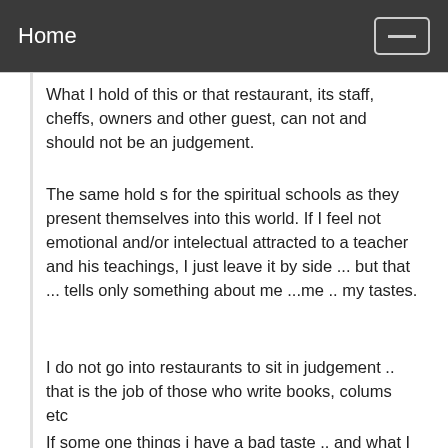Home
What I hold of this or that restaurant, its staff, cheffs, owners and other guest, can not and should not be an judgement.
The same hold s for the spiritual schools as they present themselves into this world. If I feel not emotional and/or intelectual attracted to a teacher and his teachings, I just leave it by side ... but that ... tells only something about me ...me .. my tastes.
I do not go into restaurants to sit in judgement .. that is the job of those who write books, colums etc
If some one things i have a bad taste .. and what I love to eat does not deserve other label than junkfood .. so be it ... it is their problem not mine.
Nobody needs to go to the restaurants I love to frequent., nor am i interested in where they go
I had a great time when I was associated with the teachers in Beas for 2 decades, I came to meet many good people and my best friend that past away recently